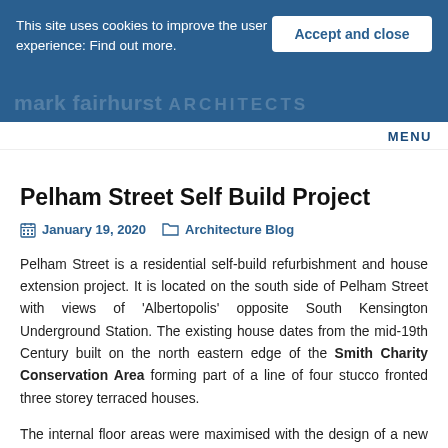This site uses cookies to improve the user experience: Find out more.
Accept and close
mark fairhurst ARCHITECTS
MENU
Pelham Street Self Build Project
January 19, 2020   Architecture Blog
Pelham Street is a residential self-build refurbishment and house extension project. It is located on the south side of Pelham Street with views of 'Albertopolis' opposite South Kensington Underground Station. The existing house dates from the mid-19th Century built on the north eastern edge of the Smith Charity Conservation Area forming part of a line of four stucco fronted three storey terraced houses.
The internal floor areas were maximised with the design of a new basement level providing additional space for a music,